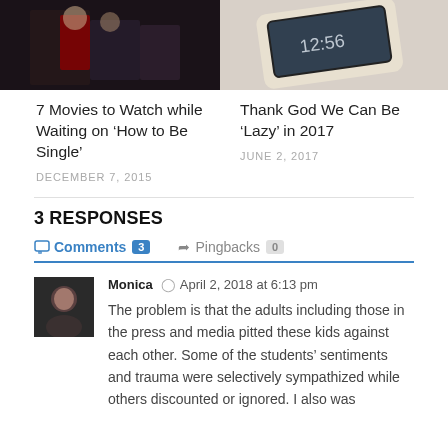[Figure (photo): Thumbnail image of people in a dark setting, one in a red outfit]
[Figure (photo): Thumbnail image of a smartphone lying on a surface]
7 Movies to Watch while Waiting on ‘How to Be Single’
DECEMBER 7, 2015
Thank God We Can Be ‘Lazy’ in 2017
JUNE 2, 2017
3 RESPONSES
Comments 3   Pingbacks 0
Monica   April 2, 2018 at 6:13 pm
The problem is that the adults including those in the press and media pitted these kids against each other. Some of the students’ sentiments and trauma were selectively sympathized while others discounted or ignored. I also was